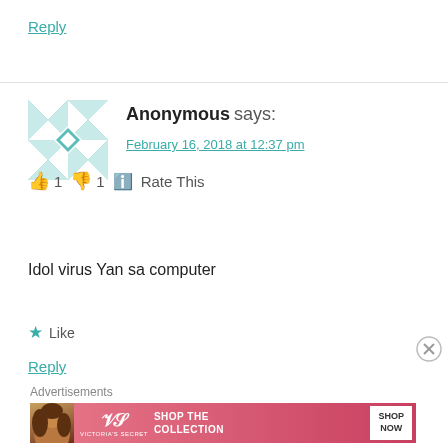Reply
[Figure (illustration): Teal and white quilt-pattern avatar image for Anonymous user]
Anonymous says:
February 16, 2018 at 12:37 pm
👍 1 👎 1 ℹ Rate This
Idol virus Yan sa computer
★ Like
Reply
Advertisements
[Figure (photo): Victoria's Secret advertisement banner with woman and SHOP THE COLLECTION / SHOP NOW button]